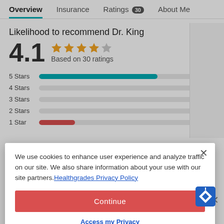Overview | Insurance | Ratings 30 | About Me
Likelihood to recommend Dr. King
[Figure (bar-chart): Likelihood to recommend Dr. King]
We use cookies to enhance user experience and analyze traffic on our site. We also share information about your use with our site partners. Healthgrades Privacy Policy
Continue
Access my Privacy Preferences